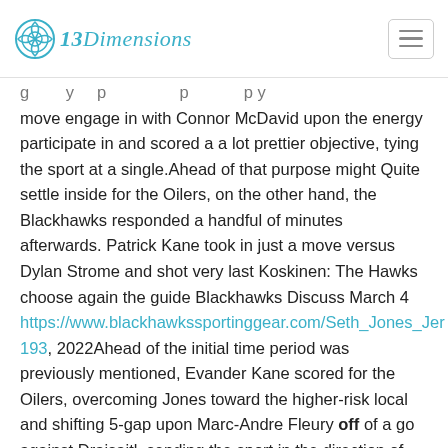13Dimensions
g y p py move engage in with Connor McDavid upon the energy participate in and scored a a lot prettier objective, tying the sport at a single.Ahead of that purpose might Quite settle inside for the Oilers, on the other hand, the Blackhawks responded a handful of minutes afterwards. Patrick Kane took in just a move versus Dylan Strome and shot very last Koskinen: The Hawks choose again the guide Blackhawks Discuss March 4 https://www.blackhawkssportinggear.com/Seth_Jones_Jer 193, 2022Ahead of the initial time period was previously mentioned, Evander Kane scored for the Oilers, overcoming Jones toward the higher-risk local and shifting 5-gap upon Marc-Andre Fleury off of a go against Draisaitl, sending the sport in the direction of